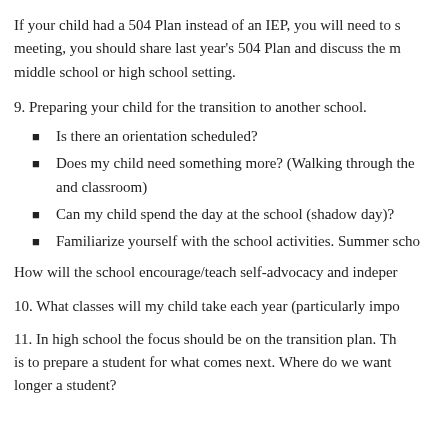If your child had a 504 Plan instead of an IEP, you will need to schedule a meeting, you should share last year's 504 Plan and discuss the middle school or high school setting.
9. Preparing your child for the transition to another school.
Is there an orientation scheduled?
Does my child need something more? (Walking through the and classroom)
Can my child spend the day at the school (shadow day)?
Familiarize yourself with the school activities. Summer scho
How will the school encourage/teach self-advocacy and indeper
10. What classes will my child take each year (particularly impo
11. In high school the focus should be on the transition plan. Th is to prepare a student for what comes next. Where do we want longer a student?